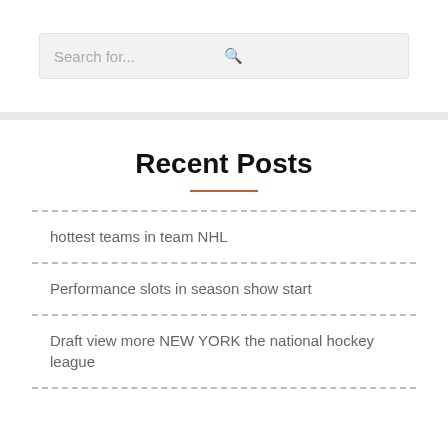Search for...
Recent Posts
hottest teams in team NHL
Performance slots in season show start
Draft view more NEW YORK the national hockey league